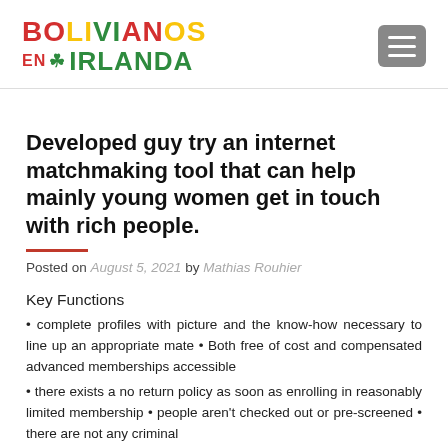BOLIVIANOS EN IRLANDA (logo with hamburger menu)
Developed guy try an internet matchmaking tool that can help mainly young women get in touch with rich people.
Posted on August 5, 2021 by Mathias Rouhier
Key Functions
• complete profiles with picture and the know-how necessary to line up an appropriate mate • Both free of cost and compensated advanced memberships accessible
• there exists a no return policy as soon as enrolling in reasonably limited membership • people aren't checked out or pre-screened • there are not any criminal